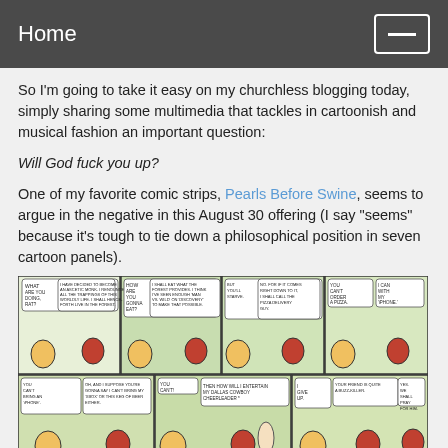Home
So I'm going to take it easy on my churchless blogging today, simply sharing some multimedia that tackles in cartoonish and musical fashion an important question:
Will God fuck you up?
One of my favorite comic strips, Pearls Before Swine, seems to argue in the negative in this August 30 offering (I say "seems" because it's tough to tie down a philosophical position in seven cartoon panels).
[Figure (illustration): Pearls Before Swine comic strip with 7 panels showing characters discussing an ascetic monk lifestyle, ordering pizza by iPhone, Xbox, keg of beer, Dallas Cowboy Cheerleader, and ending with prayer.]
On the other hand, it might be wise to keep in mind the Biblical alternative: God will fuck you up.